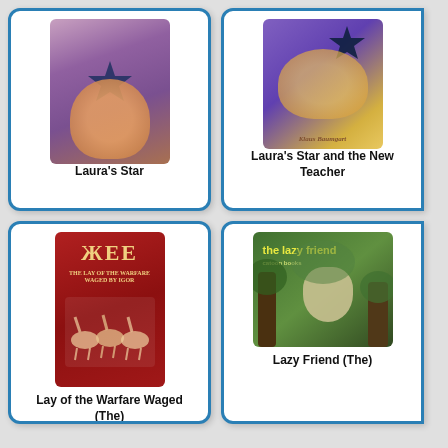[Figure (illustration): Book cover for Laura's Star showing a child holding a star, purple and warm tones]
Laura's Star
[Figure (illustration): Book cover for Laura's Star and the New Teacher showing a child with a star, purple background]
Laura's Star and the New Teacher
[Figure (illustration): Book cover for Lay of the Warfare Waged (The), red background with decorative horses and text]
Lay of the Warfare Waged (The)
[Figure (illustration): Book cover for Lazy Friend (The), green forest background with a sloth and yellow title text]
Lazy Friend (The)